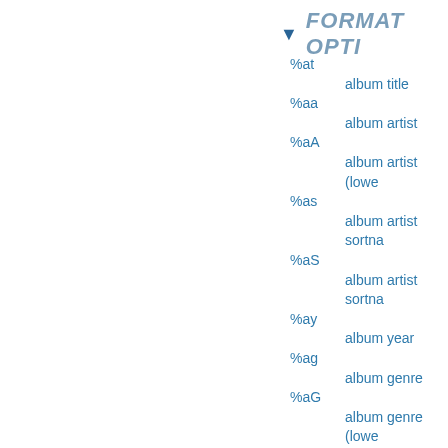FORMAT OPTI…
%at
    album title
%aa
    album artist
%aA
    album artist (lowe…
%as
    album artist sortna…
%aS
    album artist sortna…
%ay
    album year
%ag
    album genre
%aG
    album genre (lowe…
%an
    album disc numbe…
%aN
    album disc numbe…
%st
    stream title
%tn